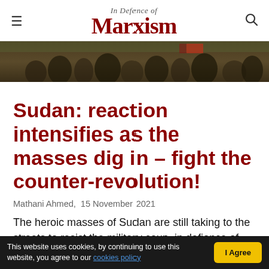In Defence of Marxism
[Figure (photo): Crowd of protesters in Sudan, outdoor scene, people gathered in the street]
Sudan: reaction intensifies as the masses dig in – fight the counter-revolution!
Mathani Ahmed,  15 November 2021
The heroic masses of Sudan are still taking to the streets to resist the military coup, in defiance of bullets, beatings and arrests at the hands of the
This website uses cookies, by continuing to use this website, you agree to our cookies policy  I Agree